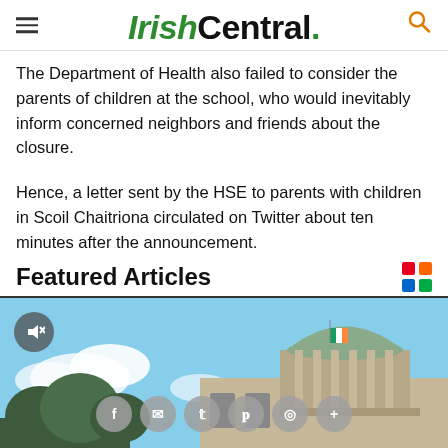IrishCentral.
The Department of Health also failed to consider the parents of children at the school, who would inevitably inform concerned neighbors and friends about the closure.
Hence, a letter sent by the HSE to parents with children in Scoil Chaitriona circulated on Twitter about ten minutes after the announcement.
Featured Articles
[Figure (photo): Photo of the Four Courts building in Dublin with a domed roof, blue sky background, with social share buttons overlaid and caption 'Irish teacher facing arrest']